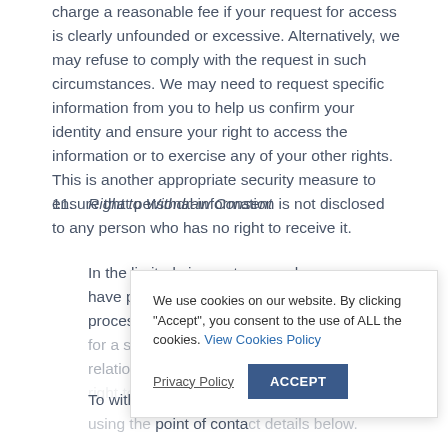charge a reasonable fee if your request for access is clearly unfounded or excessive. Alternatively, we may refuse to comply with the request in such circumstances. We may need to request specific information from you to help us confirm your identity and ensure your right to access the information or to exercise any of your other rights. This is another appropriate security measure to ensure that personal information is not disclosed to any person who has no right to receive it.
11. Right to Withdraw Consent
In the limited circumstances where you may have provided your consent to the collection, processing and transfer of your personal data for a specific purpose, you have the right in relation to a specific purpose, you have the right to withdraw your consent for that specific processing at any time.
To withdraw your consent, please contact us using the point of contact details below.